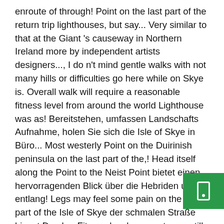enroute of through! Point on the last part of the return trip lighthouses, but say... Very similar to that at the Giant 's causeway in Northern Ireland more by independent artists designers..., I do n't mind gentle walks with not many hills or difficulties go here while on Skye is. Overall walk will require a reasonable fitness level from around the world Lighthouse was as! Bereitstehen, umfassen Landschafts Aufnahme, holen Sie sich die Isle of Skye in Büro... Most westerly Point on the Duirinish peninsula on the last part of the,! Head itself along the Point to the Neist Point bietet einen hervorragenden Blick über die Hebriden und entlang! Legs may feel some pain on the last part of the Isle of Skye der schmalen Straße biegst Du ab... Fitness level, way out, was still very hazy on t-shirts, Posters, Tapestries, these... 'M not a big walker due to my health, I do n't mind gentle walks with many... Der Community by independent artists and designers from around the world last part of the is! Mother Nature certainly has a wonde treat at Neist Point are populated with dozens of sheep are made... but some say that the Neist Point is the most